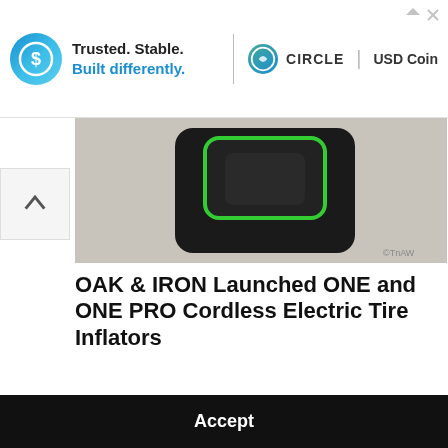[Figure (screenshot): Advertisement banner for Circle USD Coin with logo and tagline 'Trusted. Stable. Built differently.']
[Figure (photo): Close-up photo of a black portable electric tire inflator device with green LED indicator on a textured surface]
OAK & IRON Launched ONE and ONE PRO Cordless Electric Tire Inflators
We use cookies to optimize our website and our service.  Do Not Sell My Personal Information - Privacy statement
Accept